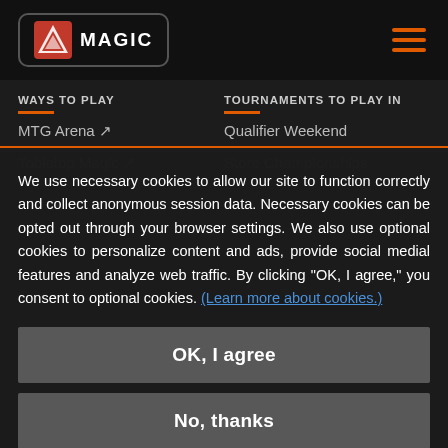[Figure (logo): Magic: The Gathering logo in a rounded rectangle box with orange/white flame symbol]
WAYS TO PLAY
TOURNAMENTS TO PLAY IN
MTG Arena ↗
Qualifier Weekend
We use necessary cookies to allow our site to function correctly and collect anonymous session data. Necessary cookies can be opted out through your browser settings. We also use optional cookies to personalize content and ads, provide social medial features and analyze web traffic. By clicking “OK, I agree,” you consent to optional cookies. (Learn more about cookies.)
OK, I agree
No, thanks